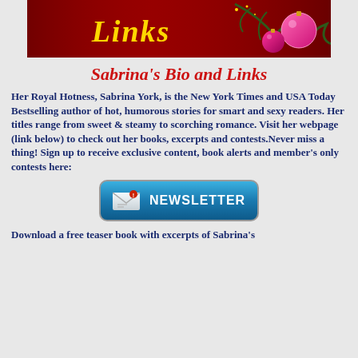[Figure (illustration): Christmas-themed banner image with red background, gold cursive 'Links' text, pink/red ornament baubles and pine branch decoration]
Sabrina's Bio and Links
Her Royal Hotness, Sabrina York, is the New York Times and USA Today Bestselling author of hot, humorous stories for smart and sexy readers. Her titles range from sweet & steamy to scorching romance. Visit her webpage (link below) to check out her books, excerpts and contests.Never miss a thing! Sign up to receive exclusive content, book alerts and member's only contests here:
[Figure (infographic): Blue rounded-rectangle Newsletter button with envelope icon and 'NEWSLETTER' text in white capital letters]
Download a free teaser book with excerpts of Sabrina's